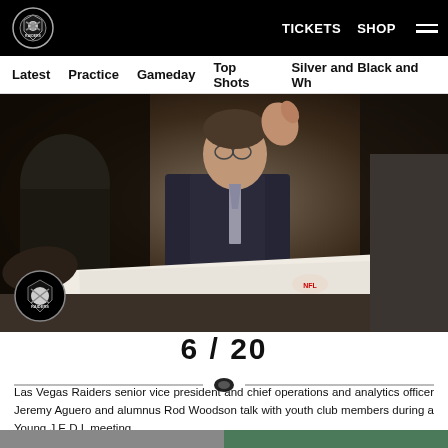TICKETS  SHOP  ☰
Latest  Practice  Gameday  Top Shots  Silver and Black and Wh
[Figure (photo): Las Vegas Raiders senior vice president and chief operations and analytics officer Jeremy Aguero gesturing while talking, seated at a table with papers, with Rod Woodson and youth club members during a Young J.E.D.I. meeting. Raiders logo watermark at bottom left of photo.]
6 / 20
Las Vegas Raiders senior vice president and chief operations and analytics officer Jeremy Aguero and alumnus Rod Woodson talk with youth club members during a Young J.E.D.I. meeting.
Tyge O'Donnell/Las Vegas Raiders